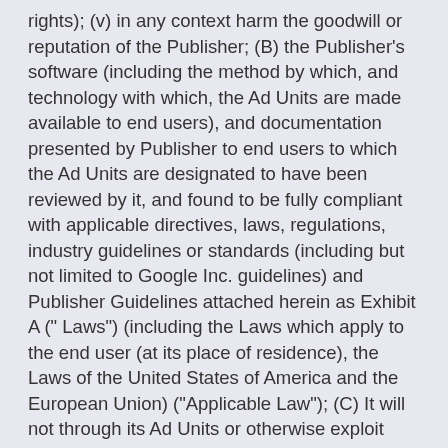rights); (v) in any context harm the goodwill or reputation of the Publisher; (B) the Publisher's software (including the method by which, and technology with which, the Ad Units are made available to end users), and documentation presented by Publisher to end users to which the Ad Units are designated to have been reviewed by it, and found to be fully compliant with applicable directives, laws, regulations, industry guidelines or standards (including but not limited to Google Inc. guidelines) and Publisher Guidelines attached herein as Exhibit A (" Laws") (including the Laws which apply to the end user (at its place of residence), the Laws of the United States of America and the European Union) ("Applicable Law"); (C) It will not through its Ad Units or otherwise exploit Publisher's services or software in order to re-sell, distribute, license, sublicense or otherwise make use of end users' data (such as search terms, visits in URLS etc.) for commercial or for any other purpose; (D) It will not use Publisher's software of services except for the limited expressed purpose of this Agreement; (E) it will